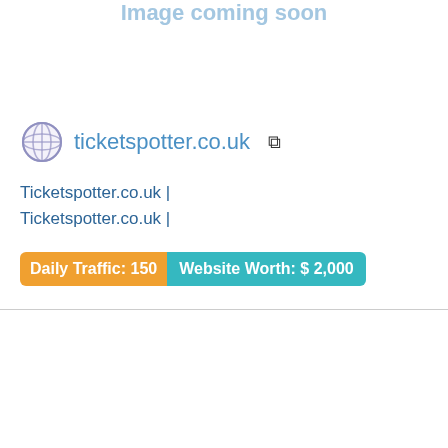Image coming soon
ticketspotter.co.uk
Ticketspotter.co.uk |
Ticketspotter.co.uk |
Daily Traffic: 150
Website Worth: $ 2,000
$iteprice.org
Image coming soon